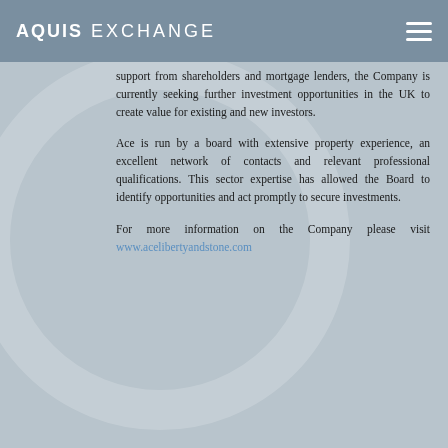AQUIS EXCHANGE
support from shareholders and mortgage lenders, the Company is currently seeking further investment opportunities in the UK to create value for existing and new investors.
Ace is run by a board with extensive property experience, an excellent network of contacts and relevant professional qualifications. This sector expertise has allowed the Board to identify opportunities and act promptly to secure investments.
For more information on the Company please visit www.acelibertyandstone.com